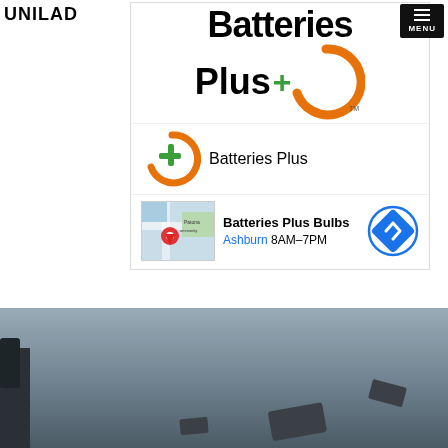[Figure (logo): Batteries Plus logo with orange arc and green plus sign, large text 'Batteries Plus']
[Figure (logo): Batteries Plus small logo with orange arc and green plus sign next to text 'Batteries Plus']
[Figure (infographic): Location card showing map thumbnail with red pin, text 'Batteries Plus Bulbs', 'Ashburn 8AM-7PM', and blue circular direction icon]
[Figure (photo): Dark moody sky photo with debris/objects flying through air, silhouette of figure at left edge]
UNILAD   MENU